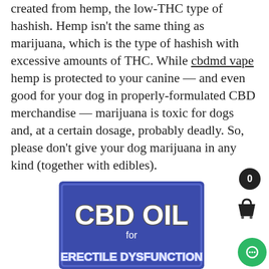created from hemp, the low-THC type of hashish. Hemp isn't the same thing as marijuana, which is the type of hashish with excessive amounts of THC. While cbdmd vape hemp is protected to your canine — and even good for your dog in properly-formulated CBD merchandise — marijuana is toxic for dogs and, at a certain dosage, probably deadly. So, please don't give your dog marijuana in any kind (together with edibles).
[Figure (illustration): Blue banner image with text 'CBD OIL for ERECTILE DYSFUNCTION' in bold white and outlined letters on a dark blue/purple background.]